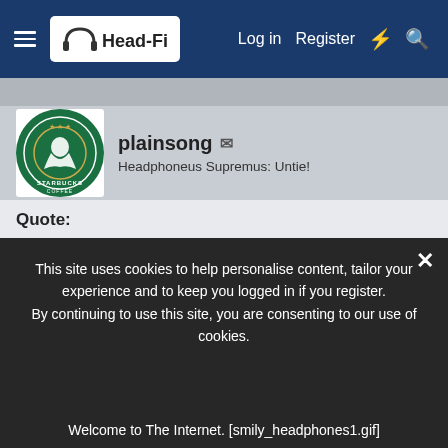Head-Fi | Log in | Register
plainsong ✉ | Headphoneus Supremus: Untie!
Quote:
Originally Posted by DrBenway
/img/forum/go_quote.gif
You’re probably right, sadly.

In principle, I oppose censorship in nearly every situation. But I have come to realize that there are juvenile individuals who will willingly undermine a forum a...
This site uses cookies to help personalise content, tailor your experience and to keep you logged in if you register.
By continuing to use this site, you are consenting to our use of cookies.
Welcome to The Internet. [smily_headphones1.gif]